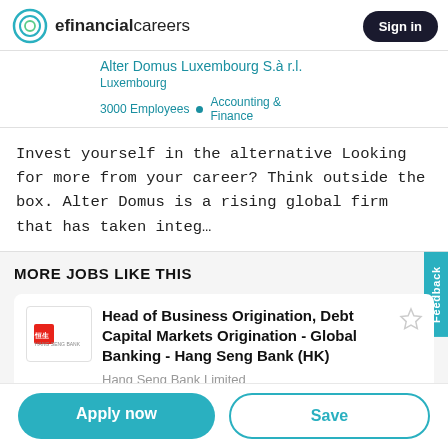efinancialcareers | Sign in
Alter Domus Luxembourg S.à r.l.
Luxembourg
3000 Employees • Accounting & Finance
Invest yourself in the alternative Looking for more from your career? Think outside the box. Alter Domus is a rising global firm that has taken integ...
MORE JOBS LIKE THIS
Head of Business Origination, Debt Capital Markets Origination - Global Banking - Hang Seng Bank (HK)
Hang Seng Bank Limited
Hong Kong